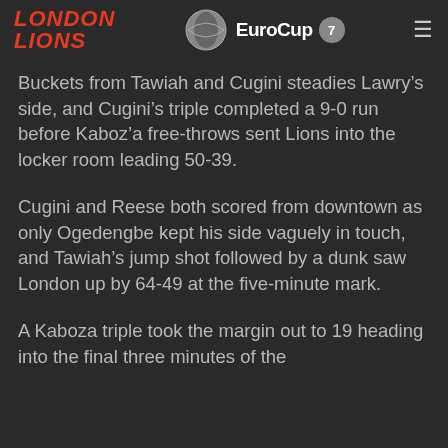LONDON LIONS | EuroCup 7
Buckets from Tawiah and Cugini steadies Lawry’s side, and Cugini’s triple completed a 9-0 run before Kaboz’a free-throws sent Lions into the locker room leading 50-39.
Cugini and Reese both scored from downtown as only Ogedengbe kept his side vaguely in touch, and Tawiah’s jump shot followed by a dunk saw London up by 64-49 at the five-minute mark.
A Kaboza triple took the margin out to 19 heading into the final three minutes of the